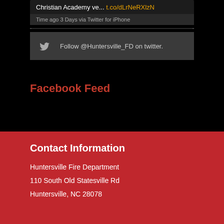Christian Academy ve... t.co/dLrNeRXlzN
Time ago 3 Days via Twitter for iPhone
Follow @Huntersville_FD on twitter.
Facebook Feed
Contact Information
Huntersville Fire Department
110 South Old Statesville Rd
Huntersville, NC 28078